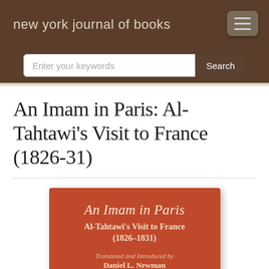new york journal of books
An Imam in Paris: Al-Tahtawi's Visit to France (1826-31)
[Figure (illustration): Book cover of 'An Imam in Paris' by Daniel L. Newman. Red/burnt-orange cover with italic title 'An Imam in Paris', subtitle 'Al-Tahtawi's Visit to France (1826-1831)', and text 'Translated and Introduced by Daniel L. Newman'. Bottom portion shows a historical scene image.]